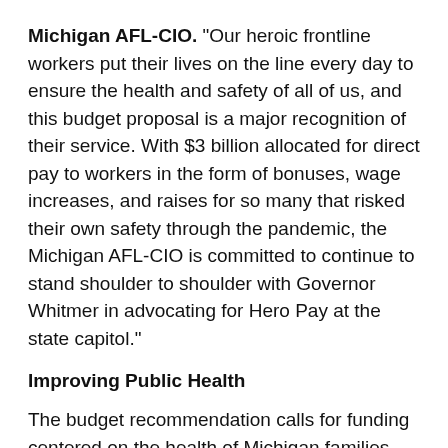Michigan AFL-CIO. "Our heroic frontline workers put their lives on the line every day to ensure the health and safety of all of us, and this budget proposal is a major recognition of their service. With $3 billion allocated for direct pay to workers in the form of bonuses, wage increases, and raises for so many that risked their own safety through the pandemic, the Michigan AFL-CIO is committed to continue to stand shoulder to shoulder with Governor Whitmer in advocating for Hero Pay at the state capitol."
Improving Public Health
The budget recommendation calls for funding centered on the health of Michigan families, including:
$243.3 million for increased access to dental services for Medicaid enrollees that replicates